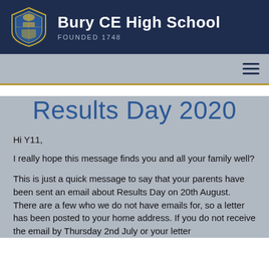Bury CE High School FOUNDED 1748
Results Day 2020
Hi Y11,
I really hope this message finds you and all your family well?
This is just a quick message to say that your parents have been sent an email about Results Day on 20th August. There are a few who we do not have emails for, so a letter has been posted to your home address. If you do not receive the email by Thursday 2nd July or your letter